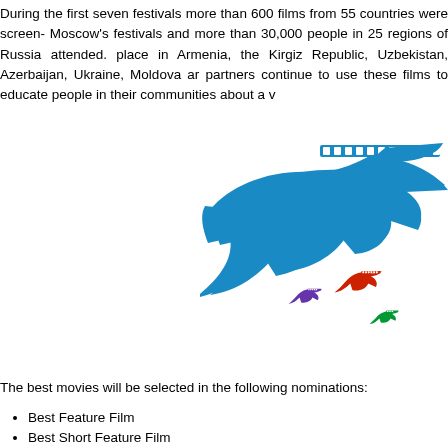During the first seven festivals more than 600 films from 55 countries were screen- Moscow's festivals and more than 30,000 people in 25 regions of Russia attended. place in Armenia, the Kirgiz Republic, Uzbekistan, Azerbaijan, Ukraine, Moldova ar partners continue to use these films to educate people in their communities about a v
[Figure (logo): Festival logo showing a large blue bird/swallow in flight with a film strip along its wing, accompanied by three smaller birds in red, purple, and green colors.]
The best movies will be selected in the following nominations:
Best Feature Film
Best Short Feature Film